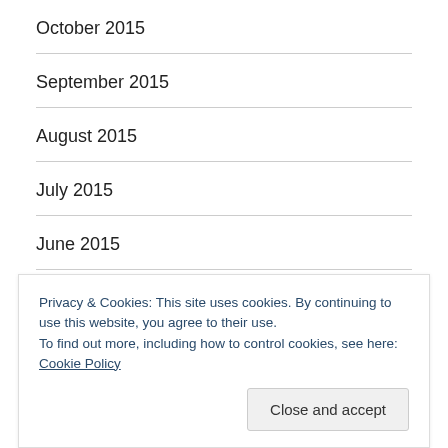October 2015
September 2015
August 2015
July 2015
June 2015
May 2015
April 2015
March 2015
Privacy & Cookies: This site uses cookies. By continuing to use this website, you agree to their use.
To find out more, including how to control cookies, see here: Cookie Policy